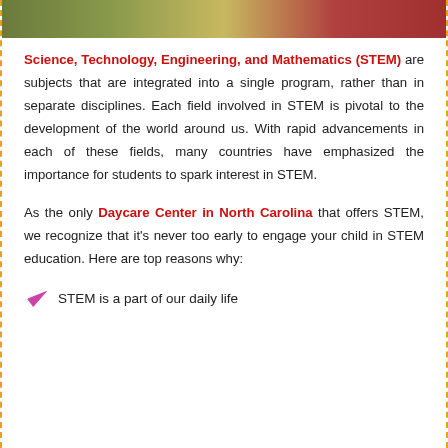[Figure (photo): Partial photo strip at top showing colorful blurred image of children or STEM-related activity]
Science, Technology, Engineering, and Mathematics (STEM) are subjects that are integrated into a single program, rather than in separate disciplines. Each field involved in STEM is pivotal to the development of the world around us. With rapid advancements in each of these fields, many countries have emphasized the importance for students to spark interest in STEM.
As the only Daycare Center in North Carolina that offers STEM, we recognize that it's never too early to engage your child in STEM education. Here are top reasons why:
STEM is a part of our daily life